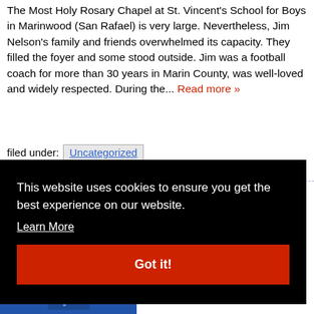The Most Holy Rosary Chapel at St. Vincent's School for Boys in Marinwood (San Rafael) is very large. Nevertheless, Jim Nelson's family and friends overwhelmed its capacity. They filled the foyer and some stood outside. Jim was a football coach for more than 30 years in Marin County, was well-loved and widely respected. During the... Read more »
filed under: Uncategorized
This website uses cookies to ensure you get the best experience on our website. Learn More Got it!
25 –
[Figure (photo): Blue background photo at bottom left corner of the page, partially visible]